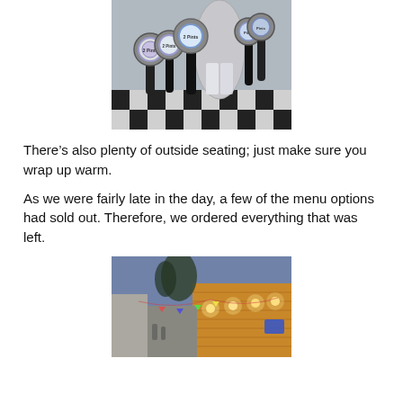[Figure (photo): Bar taps with circular branded pump clips showing '2 Pints' branding, with black and white checkered floor visible in the background]
There’s also plenty of outside seating; just make sure you wrap up warm.
As we were fairly late in the day, a few of the menu options had sold out. Therefore, we ordered everything that was left.
[Figure (photo): Exterior shot at dusk of a venue with wooden cladding, warm golden lights illuminating the front, bunting strung between buildings, trees silhouetted in the background]